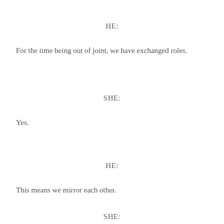HE:
For the time being out of joint, we have exchanged roles.
SHE:
Yes.
HE:
This means we mirror each other.
SHE: